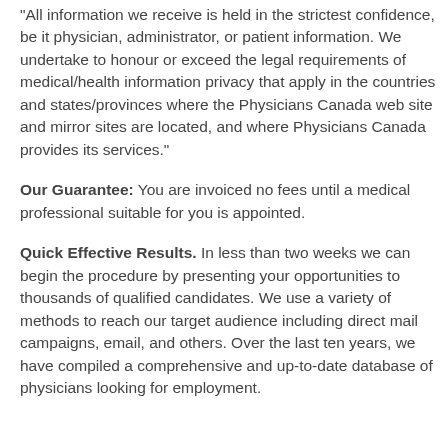"All information we receive is held in the strictest confidence, be it physician, administrator, or patient information. We undertake to honour or exceed the legal requirements of medical/health information privacy that apply in the countries and states/provinces where the Physicians Canada web site and mirror sites are located, and where Physicians Canada provides its services."
Our Guarantee: You are invoiced no fees until a medical professional suitable for you is appointed.
Quick Effective Results. In less than two weeks we can begin the procedure by presenting your opportunities to thousands of qualified candidates. We use a variety of methods to reach our target audience including direct mail campaigns, email, and others. Over the last ten years, we have compiled a comprehensive and up-to-date database of physicians looking for employment.